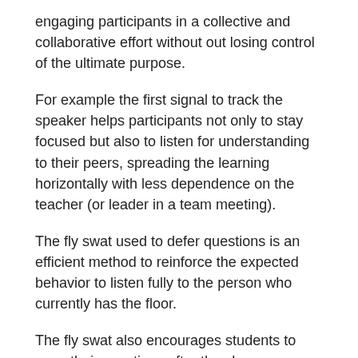engaging participants in a collective and collaborative effort without out losing control of the ultimate purpose.
For example the first signal to track the speaker helps participants not only to stay focused but also to listen for understanding to their peers, spreading the learning horizontally with less dependence on the teacher (or leader in a team meeting).
The fly swat used to defer questions is an efficient method to reinforce the expected behavior to listen fully to the person who currently has the floor.
The fly swat also encourages students to pose their questions after they have evaluated what they just heard. Then when the teacher (leader) conducts a Q&A session or discussion the questions are more targeted and the learning more meaningful and the ensuing understanding more applicable.